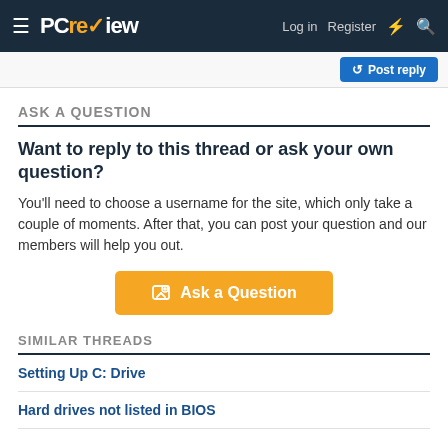PC review — Log in  Register
Post reply
ASK A QUESTION
Want to reply to this thread or ask your own question?
You'll need to choose a username for the site, which only take a couple of moments. After that, you can post your question and our members will help you out.
Ask a Question
SIMILAR THREADS
Setting Up C: Drive
Hard drives not listed in BIOS